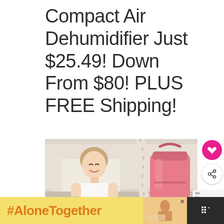Compact Air Dehumidifier Just $25.49! Down From $80! PLUS FREE Shipping!
[Figure (photo): Young girl smiling with eyes closed, breathing fresh air, holding a green item, with a pink dehumidifier bucket visible on the right, sofa in background]
#AloneTogether